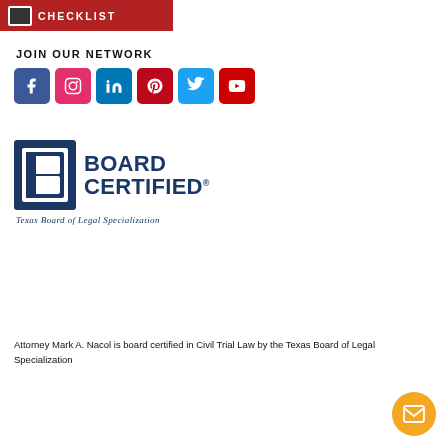[Figure (logo): Red banner with checklist icon and CHECKLIST text]
JOIN OUR NETWORK
[Figure (infographic): Row of social media icons: Facebook, Instagram, LinkedIn, Pinterest, Twitter, YouTube]
[Figure (logo): Board Certified - Texas Board of Legal Specialization logo]
Attorney Mark A. Nacol is board certified in Civil Trial Law by the Texas Board of Legal Specialization